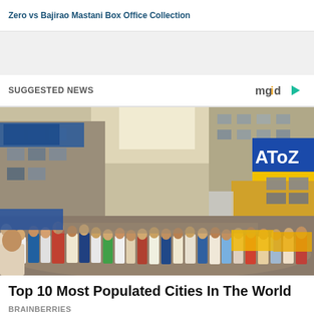Zero vs Bajirao Mastani Box Office Collection
SUGGESTED NEWS
[Figure (photo): Crowded street scene in an Indian city with tall buildings, shops including an 'AToZ' sign, and a large crowd of people]
Top 10 Most Populated Cities In The World
BRAINBERRIES